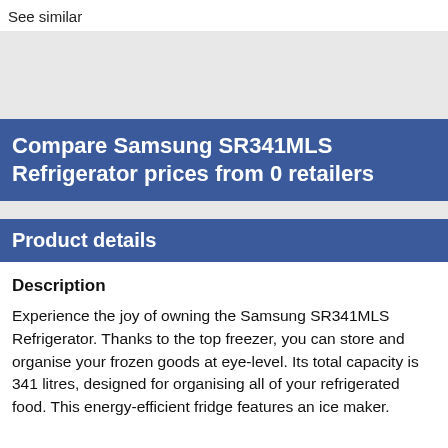See similar
Compare Samsung SR341MLS Refrigerator prices from 0 retailers
Product details
Description
Experience the joy of owning the Samsung SR341MLS Refrigerator. Thanks to the top freezer, you can store and organise your frozen goods at eye-level. Its total capacity is 341 litres, designed for organising all of your refrigerated food. This energy-efficient fridge features an ice maker.